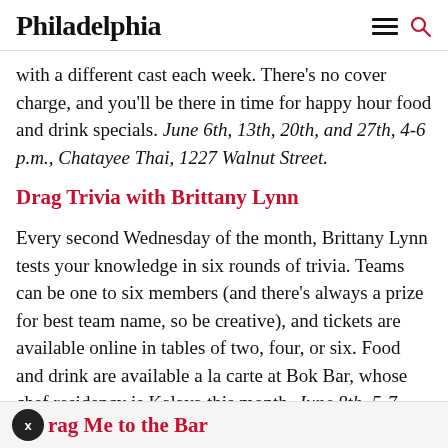Philadelphia
with a different cast each week. There's no cover charge, and you'll be there in time for happy hour food and drink specials. June 6th, 13th, 20th, and 27th, 4-6 p.m., Chatayee Thai, 1227 Walnut Street.
Drag Trivia with Brittany Lynn
Every second Wednesday of the month, Brittany Lynn tests your knowledge in six rounds of trivia. Teams can be one to six members (and there's always a prize for best team name, so be creative), and tickets are available online in tables of two, four, or six. Food and drink are available a la carte at Bok Bar, whose chef residency is Kalaya this month. June 8th, 5-7 p.m., Bok Bar, 800 Mifflin Street.
rag Me to the Bar